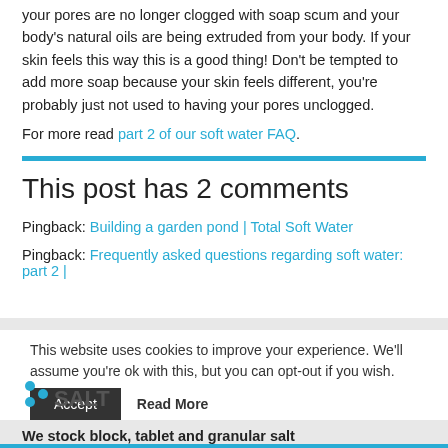your pores are no longer clogged with soap scum and your body's natural oils are being extruded from your body. If your skin feels this way this is a good thing! Don't be tempted to add more soap because your skin feels different, you're probably just not used to having your pores unclogged.
For more read part 2 of our soft water FAQ.
This post has 2 comments
Pingback: Building a garden pond | Total Soft Water
Pingback: Frequently asked questions regarding soft water: part 2 |
This website uses cookies to improve your experience. We'll assume you're ok with this, but you can opt-out if you wish.
We stock block, tablet and granular salt